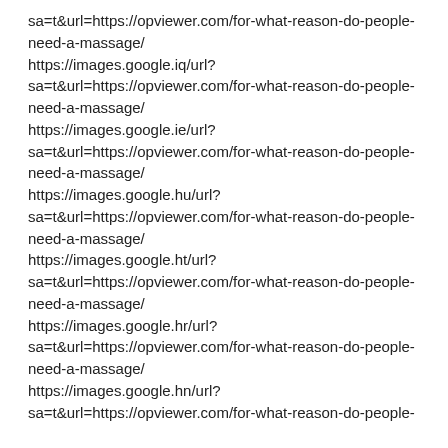sa=t&url=https://opviewer.com/for-what-reason-do-people-need-a-massage/
https://images.google.iq/url?
sa=t&url=https://opviewer.com/for-what-reason-do-people-need-a-massage/
https://images.google.ie/url?
sa=t&url=https://opviewer.com/for-what-reason-do-people-need-a-massage/
https://images.google.hu/url?
sa=t&url=https://opviewer.com/for-what-reason-do-people-need-a-massage/
https://images.google.ht/url?
sa=t&url=https://opviewer.com/for-what-reason-do-people-need-a-massage/
https://images.google.hr/url?
sa=t&url=https://opviewer.com/for-what-reason-do-people-need-a-massage/
https://images.google.hn/url?
sa=t&url=https://opviewer.com/for-what-reason-do-people-